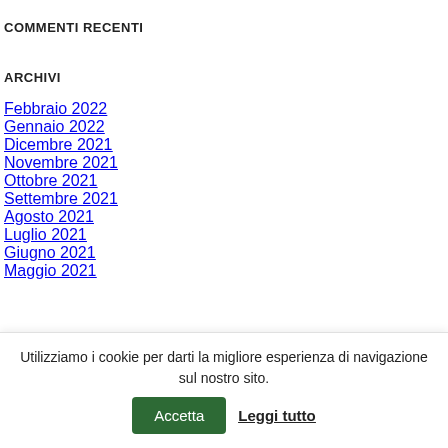COMMENTI RECENTI
ARCHIVI
Febbraio 2022
Gennaio 2022
Dicembre 2021
Novembre 2021
Ottobre 2021
Settembre 2021
Agosto 2021
Luglio 2021
Giugno 2021
Maggio 2021
Utilizziamo i cookie per darti la migliore esperienza di navigazione sul nostro sito.
Accetta
Leggi tutto